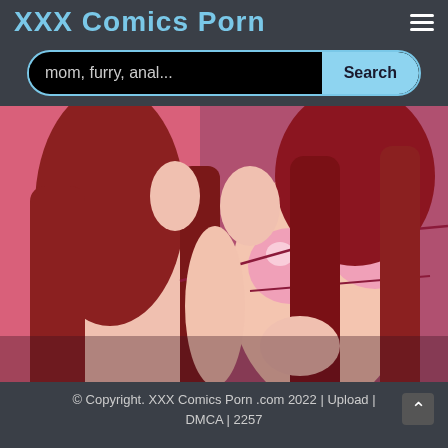XXX Comics Porn
mom, furry, anal...
[Figure (illustration): Anime-style illustration of two women with long red/brown hair, wearing pink bikini tops, against a pink background with Japanese character.]
© Copyright. XXX Comics Porn .com 2022 | Upload | DMCA | 2257